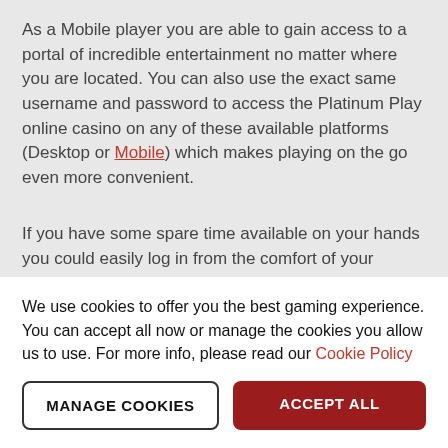As a Mobile player you are able to gain access to a portal of incredible entertainment no matter where you are located. You can also use the exact same username and password to access the Platinum Play online casino on any of these available platforms (Desktop or Mobile) which makes playing on the go even more convenient.
If you have some spare time available on your hands you could easily log in from the comfort of your current surroundings and play your favourite games. The Platinum Play mobile website is accessible on most mobile devices including Android, iOS and Java...
We use cookies to offer you the best gaming experience. You can accept all now or manage the cookies you allow us to use. For more info, please read our Cookie Policy